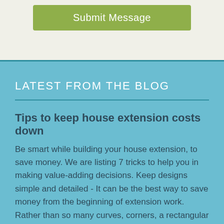[Figure (screenshot): A green rounded button labeled 'Submit Message' on a light beige/grey background]
LATEST FROM THE BLOG
Tips to keep house extension costs down
Be smart while building your house extension, to save money. We are listing 7 tricks to help you in making value-adding decisions. Keep designs simple and detailed - It can be the best way to save money from the beginning of extension work. Rather than so many curves, corners, a rectangular or square footprint with a simple roof will be